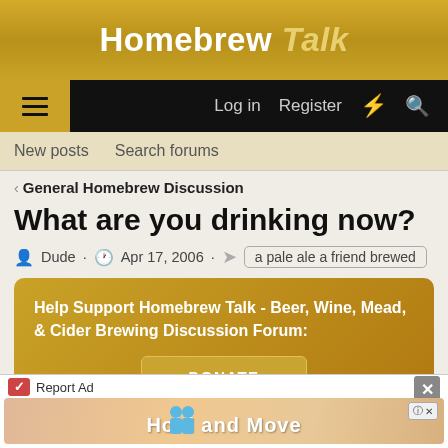Homebrew Talk
Log in  Register
New posts  Search forums
General Homebrew Discussion
What are you drinking now?
Dude · Apr 17, 2006 · a pale ale a friend brewed
Help Support Homebrew Talk - Beer, Wine, Mead, & Cider Brewing Discussion Forum:
DONATE
7534 of 7731
Report Ad
Hold and Move